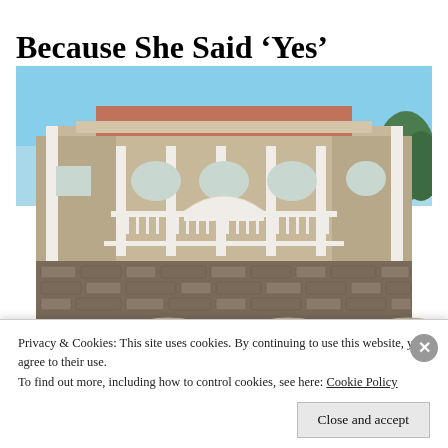Because She Said ‘Yes’
[Figure (photo): Exterior photo of a multi-story building with white columns, arched windows, stone cladding on the lower level, and three arched entrances at ground level. Blue sky in background.]
Privacy & Cookies: This site uses cookies. By continuing to use this website, you agree to their use.
To find out more, including how to control cookies, see here: Cookie Policy
Close and accept